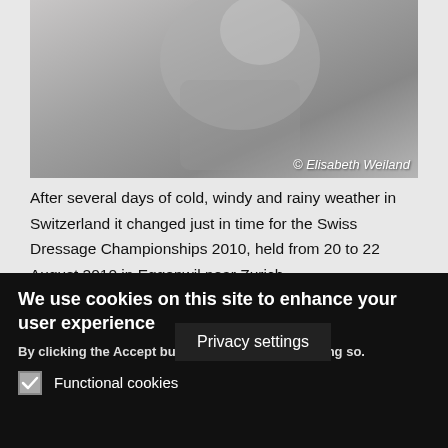[Figure (photo): Partial photo of a horse/rider at a dressage event, greyscale/muted tones. Copyright credit: © Elisabeth Weiland]
After several days of cold, windy and rainy weather in Switzerland it changed just in time for the Swiss Dressage Championships 2010, held from 20 to 22 August 2010 in Eggenwil near Zurich.
Martin Kroll and his family, who organised the championships, built a high quality outdoor arena on their beautiful property at the end of 2009 to provide excellent conditions for the best dressage horses of the country.
Their efforts were we[...] vast number of
Privacy settings
We use cookies on this site to enhance your user experience
By clicking the Accept button, you agree to us doing so.
Functional cookies